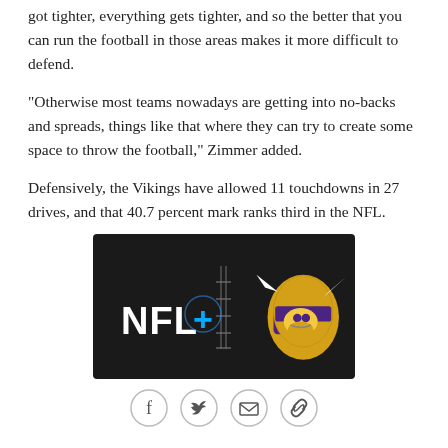got tighter, everything gets tighter, and so the better that you can run the football in those areas makes it more difficult to defend.
"Otherwise most teams nowadays are getting into no-backs and spreads, things like that where they can try to create some space to throw the football," Zimmer added.
Defensively, the Vikings have allowed 11 touchdowns in 27 drives, and that 40.7 percent mark ranks third in the NFL.
[Figure (screenshot): NFL+ logo with Minnesota Vikings logo on dark background, showing NFL+ streaming service branding]
[Figure (other): Social share buttons: Facebook, Twitter, Email, Link]